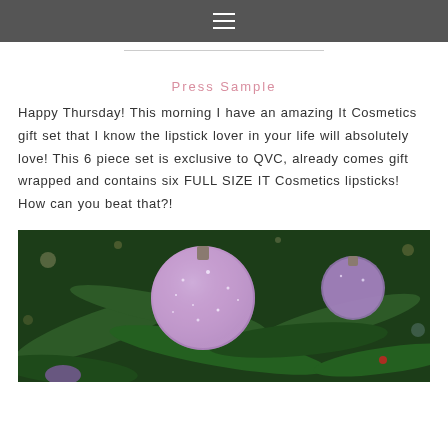≡
Press Sample
Happy Thursday! This morning I have an amazing It Cosmetics gift set that I know the lipstick lover in your life will absolutely love! This 6 piece set is exclusive to QVC, already comes gift wrapped and contains six FULL SIZE IT Cosmetics lipsticks! How can you beat that?!
[Figure (photo): Close-up photo of a Christmas tree decorated with glittery purple/pink ornaments and green pine branches, with bokeh lights in the background.]